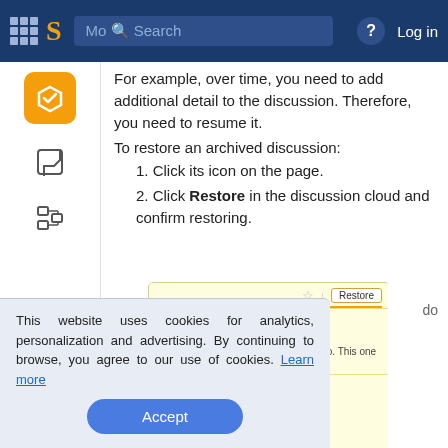Mo Search  ? Log in
For example, over time, you need to add additional detail to the discussion. Therefore, you need to resume it.
To restore an archived discussion:
1. Click its icon on the page.
2. Click Restore in the discussion cloud and confirm restoring.
[Figure (screenshot): Screenshot of discussion cloud UI showing Restore button, Jack Stone comment dated Mar 25, 2022 08:03 with Lilly Grey mention, and Lilly Grey avatar below]
This website uses cookies for analytics, personalization and advertising. By continuing to browse, you agree to our use of cookies. Learn more
Accept